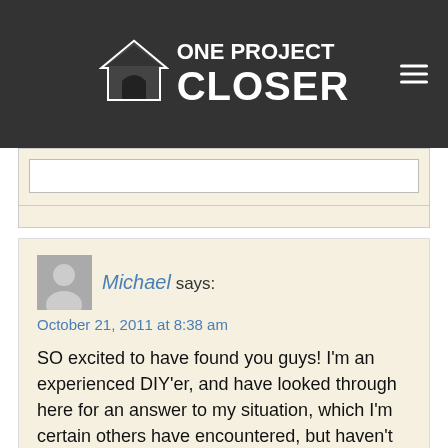[Figure (logo): One Project Closer logo with house icon and site name in white on dark background, with hamburger menu icon on right]
Michael says:
October 21, 2011 at 8:38 am

SO excited to have found you guys! I'm an experienced DIY'er, and have looked through here for an answer to my situation, which I'm certain others have encountered, but haven't found exactly what I'm after. Hoping Fred or someone here can help! (And thanks for being so generous with the advice, by the way!)

Before the long back story, the question: are there any